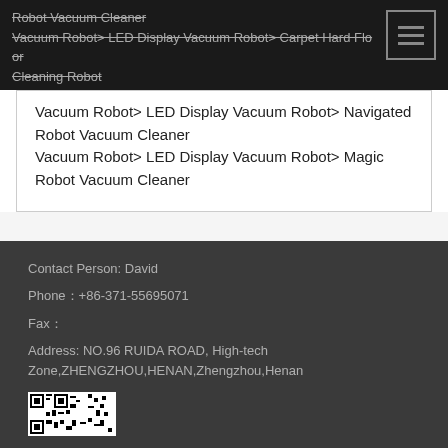Robot Vacuum Cleaner
Vacuum Robot> LED Display Vacuum Robot> Carpet Hard Floor Cleaning Robot
Vacuum Robot> LED Display Vacuum Robot> Navigated Robot Vacuum Cleaner
Vacuum Robot> LED Display Vacuum Robot> Magic Robot Vacuum Cleaner
Contact Person: David
Phone：+86-371-55695071
Fax：
Address: NO.96 RUIDA ROAD, High-tech Zone,ZHENGZHOU,HENAN,Zhengzhou,Henan